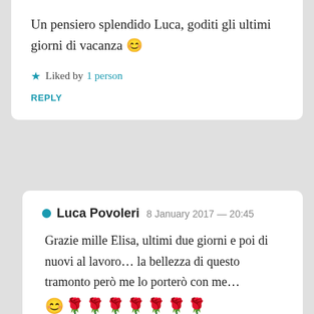Un pensiero splendido Luca, goditi gli ultimi giorni di vacanza 😊
★ Liked by 1 person
REPLY
Luca Povoleri  8 January 2017 — 20:45
Grazie mille Elisa, ultimi due giorni e poi di nuovi al lavoro… la bellezza di questo tramonto però me lo porterò con me… 😊🌹🌹🌹🌹🌹🌹🌹